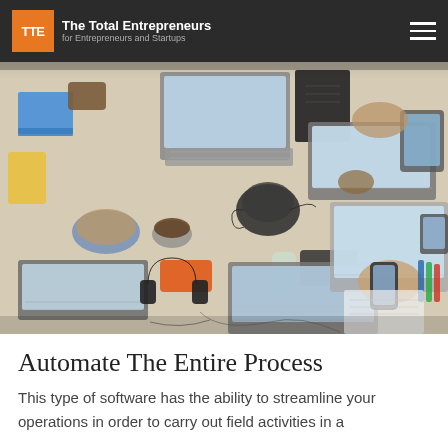The Total Entrepreneurs — for Entrepreneurs and Startups
[Figure (photo): Overhead aerial view of a busy shared workspace desk with multiple laptops, smartphones, tablets, headphones, notebooks, coffee cups, a teapot, snacks, cables and office supplies. Multiple people's hands are visible working on devices.]
Automate The Entire Process
This type of software has the ability to streamline your operations in order to carry out field activities in a